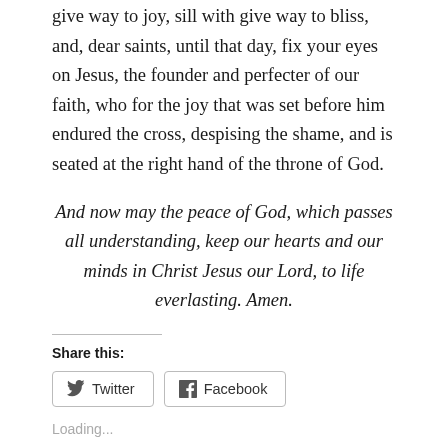give way to joy, sill with give way to bliss, and, dear saints, until that day, fix your eyes on Jesus, the founder and perfecter of our faith, who for the joy that was set before him endured the cross, despising the shame, and is seated at the right hand of the throne of God.
And now may the peace of God, which passes all understanding, keep our hearts and our minds in Christ Jesus our Lord, to life everlasting. Amen.
Share this:
Twitter  Facebook
Loading...